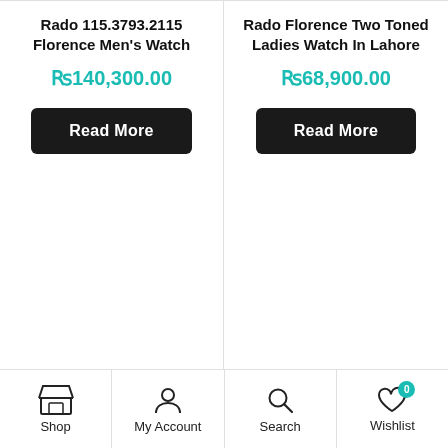Rado 115.3793.2115 Florence Men's Watch
Rs140,300.00
Read More
Rado Florence Two Toned Ladies Watch In Lahore
Rs68,900.00
Read More
Out Of Stock
[Figure (illustration): Green circle phone call button (phone icon)]
[Figure (illustration): Green circle WhatsApp icon button]
Shop  My Account  Search  Wishlist 0